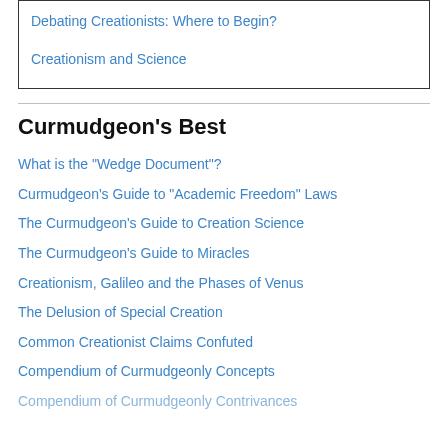Debating Creationists: Where to Begin?
Creationism and Science
Curmudgeon's Best
What is the "Wedge Document"?
Curmudgeon's Guide to "Academic Freedom" Laws
The Curmudgeon's Guide to Creation Science
The Curmudgeon's Guide to Miracles
Creationism, Galileo and the Phases of Venus
The Delusion of Special Creation
Common Creationist Claims Confuted
Compendium of Curmudgeonly Concepts
Compendium of Curmudgeonly Contrivances